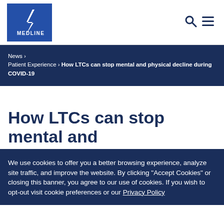MEDLINE [logo] [search icon] [menu icon]
News › Patient Experience › How LTCs can stop mental and physical decline during COVID-19
How LTCs can stop mental and physical decline during COVID-19
We use cookies to offer you a better browsing experience, analyze site traffic, and improve the website. By clicking "Accept Cookies" or closing this banner, you agree to our use of cookies. If you wish to opt-out visit cookie preferences or our Privacy Policy